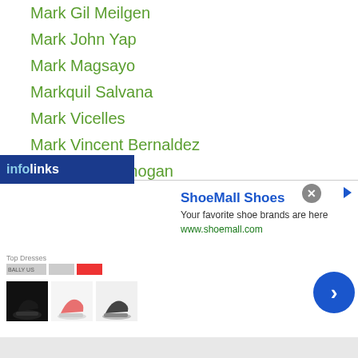Mark Gil Meilgen
Mark John Yap
Mark Magsayo
Markquil Salvana
Mark Vicelles
Mark Vincent Bernaldez
Marlon Paniamogan
Marlon Tapales
Marvin Esquierdo
Marvin Mabait
Marvinsonsona
Marvin Sonsona
Mary Kom
Masaaki Serie
Masae Akitaya
Masafumi Ando
mi Otake
[Figure (screenshot): Infolinks logo overlay bar and ShoeMall Shoes advertisement with shoe images, text 'Your favorite shoe brands are here', URL www.shoemall.com, close button, and arrow button.]